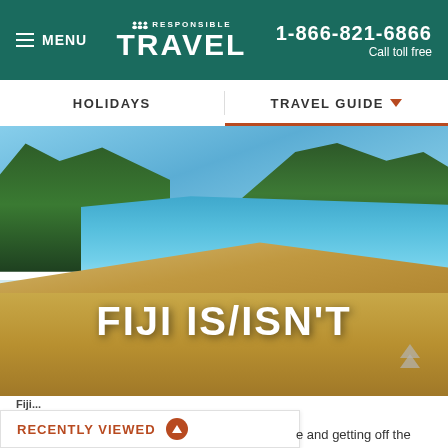≡ MENU | RESPONSIBLE TRAVEL | 1-866-821-6866 Call toll free
HOLIDAYS | TRAVEL GUIDE
[Figure (photo): Tropical beach scene in Fiji with white sand shore, turquoise clear water, lush green hills and mountains in the background under a blue sky]
FIJI IS/ISN'T
Fiji...
e and getting off the
RECENTLY VIEWED